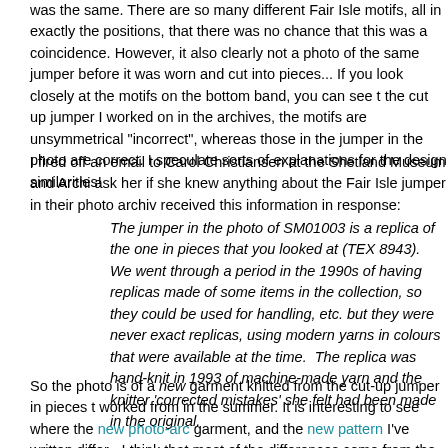was the same. There are so many different Fair Isle motifs, all in exactly the positions, that there was no chance that this was a coincidence. However, it also clearly not a photo of the same jumper before it was worn and cut into pieces... If you look closely at the motifs on the bottom band, you can see t the cut up jumper I worked on in the archives, the motifs are unsymmetrical "incorrect", whereas those in the jumper in the photo are correct. I speculate sorts of explanations for the design similarities!
I fired off an email to Carol Christiansen at the Shetland Museum and Archi ask her if she knew anything about the Fair Isle jumper in their photo archiv received this information in response:
The jumper in the photo of SM01003 is a replica of the one in pieces that you looked at (TEX 8943). We went through a period in the 1990s of having replicas made of some items in the collection, so they could be used for handling, etc. but they were never exact replicas, using modern yarns in colours that were available at the time. The replica was hand-knit in 1993 of machine-made yarn and the knitter 'corrected mistakes' she felt had been made in the original.
So the photo is of a new garment knitted from the cut-up jumper in pieces t worked from in the summer. It is interesting to see where the new photo-arc garment, and the new pattern I've written differ - I think that most of the differences come from the fact that I was writing instructions that had to use